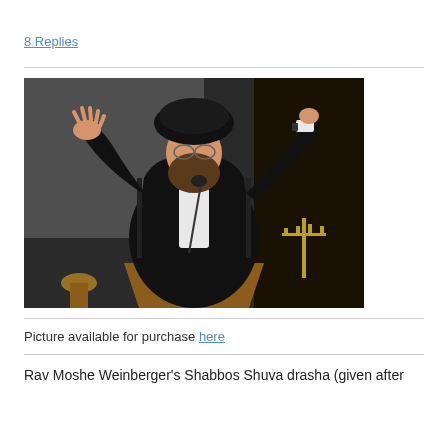8 Replies
[Figure (photo): A bearded rabbi wearing a large black fur hat and black robe stands at a wooden podium with both arms raised, giving a speech. There is a microphone in front of him and a menorah visible in the background.]
Picture available for purchase here
Rav Moshe Weinberger's Shabbos Shuva drasha (given after